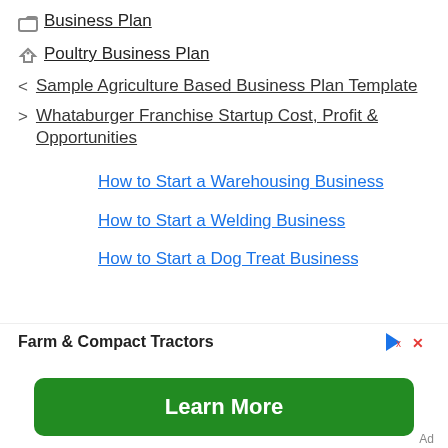📁 Business Plan
🏷 Poultry Business Plan
< Sample Agriculture Based Business Plan Template
> Whataburger Franchise Startup Cost, Profit & Opportunities
How to Start a Warehousing Business
How to Start a Welding Business
How to Start a Dog Treat Business
Farm & Compact Tractors
Learn More
Ad